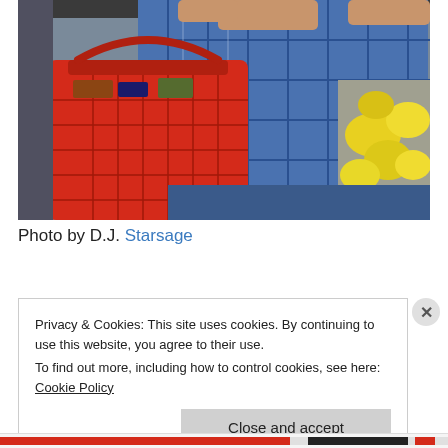[Figure (photo): Photo of an overweight person in a blue plaid shirt holding a red shopping basket in a grocery store, with yellow fruits visible on the right.]
Photo by D.J. Starsage
Privacy & Cookies: This site uses cookies. By continuing to use this website, you agree to their use.
To find out more, including how to control cookies, see here: Cookie Policy